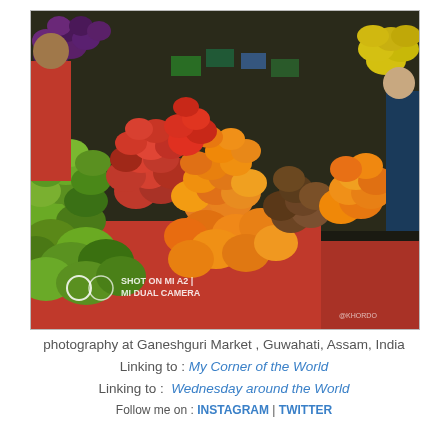[Figure (photo): A colorful fruit market stall at Ganeshguri Market, Guwahati, Assam, India. The stall displays piles of various fruits including apples, oranges, tomatoes, grapes, guavas, and kiwis arranged in a triangular display on a red wooden stand. A vendor in a red shirt is visible on the left holding grapes. A customer in dark clothes is visible on the right. The photo has a watermark 'SHOT ON MI A2 | MI DUAL CAMERA' at the bottom left and '@KHORDO' at the bottom right.]
photography at Ganeshguri Market , Guwahati, Assam, India
Linking to : My Corner of the World
Linking to :  Wednesday around the World
Follow me on : INSTAGRAM | TWITTER